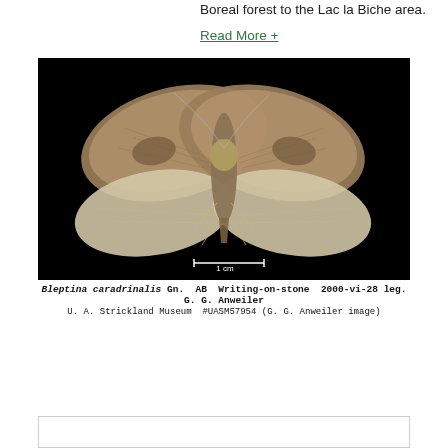Boreal forest to the Lac la Biche area.
Read More +
[Figure (photo): Pinned moth specimen (Bleptina caradrinalis) photographed against a black background with a 1 cm scale bar. The moth has brownish-grey forewings and pale hindwings with fringe.]
Bleptina caradrinalis Gn. AB Writing-on-stone 2000-vi-28 leg. G. G. Anweiler
U. A. Strickland Museum #UASM57954 (G. G. Anweiler image)
[Figure (other): Partially visible box/panel at the bottom of the page]